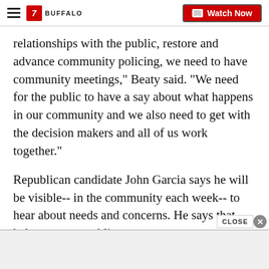7 BUFFALO | Watch Now
relationships with the public, restore and advance community policing, we need to have community meetings," Beaty said. "We need for the public to have a say about what happens in our community and we also need to get with the decision makers and all of us work together."
Republican candidate John Garcia says he will be visible-- in the community each week-- to hear about needs and concerns. He says that helps create a public trust.
[Figure (screenshot): Advertisement bar at bottom of page with CLOSE button overlay]